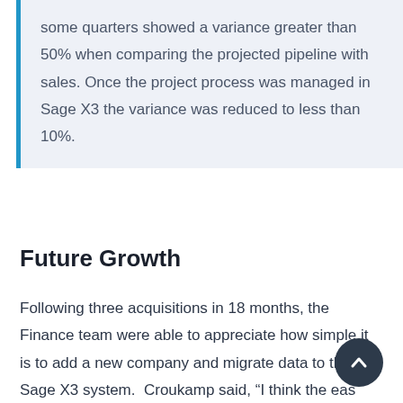some quarters showed a variance greater than 50% when comparing the projected pipeline with sales. Once the project process was managed in Sage X3 the variance was reduced to less than 10%.
Future Growth
Following three acquisitions in 18 months, the Finance team were able to appreciate how simple it is to add a new company and migrate data to the Sage X3 system. Croukamp said, “I think the eas[e of] this process is just phenomenal.”